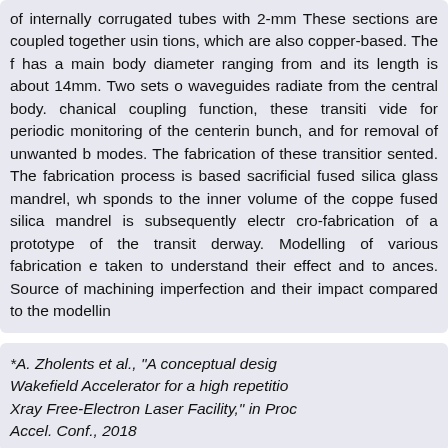of internally corrugated tubes with 2-mm These sections are coupled together usin tions, which are also copper-based. The f has a main body diameter ranging from and its length is about 14mm. Two sets o waveguides radiate from the central body. chanical coupling function, these transiti vide for periodic monitoring of the centerin bunch, and for removal of unwanted b modes. The fabrication of these transitior sented. The fabrication process is based sacrificial fused silica glass mandrel, wh sponds to the inner volume of the coppe fused silica mandrel is subsequently electr cro-fabrication of a prototype of the transit derway. Modelling of various fabrication e taken to understand their effect and to ances. Source of machining imperfection and their impact compared to the modellin
*A. Zholents et al., "A conceptual desig Wakefield Accelerator for a high repetitio Xray Free-Electron Laser Facility," in Proc Accel. Conf., 2018